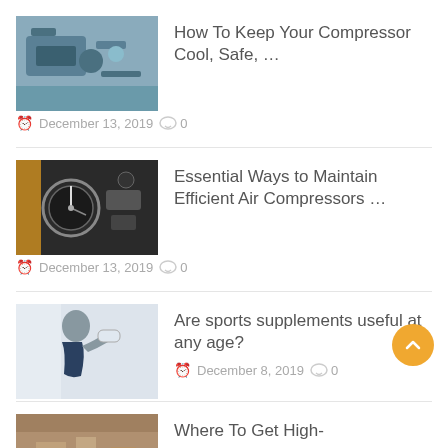[Figure (photo): Industrial air compressor machinery photo]
How To Keep Your Compressor Cool, Safe, …
December 13, 2019  0
[Figure (photo): Air compressor gauge and fittings close-up photo]
Essential Ways to Maintain Efficient Air Compressors …
December 13, 2019  0
[Figure (photo): Man drinking from a sports supplement shaker bottle]
Are sports supplements useful at any age?
December 8, 2019  0
[Figure (photo): Interior room or shop photo]
Where To Get High-